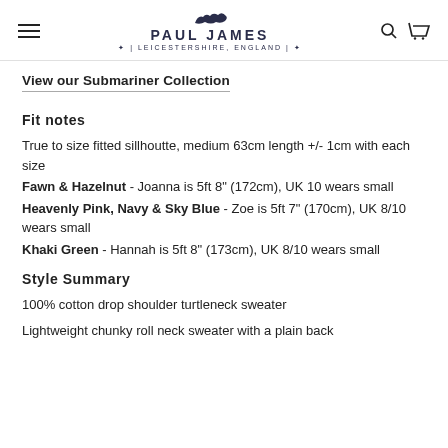PAUL JAMES | LEICESTERSHIRE, ENGLAND
View our Submariner Collection
Fit notes
True to size fitted sillhoutte, medium 63cm length +/- 1cm with each size
Fawn & Hazelnut - Joanna is 5ft 8" (172cm), UK 10 wears small
Heavenly Pink, Navy & Sky Blue - Zoe is 5ft 7" (170cm), UK 8/10 wears small
Khaki Green - Hannah is 5ft 8" (173cm), UK 8/10 wears small
Style Summary
100% cotton drop shoulder turtleneck sweater
Lightweight chunky roll neck sweater with a plain back